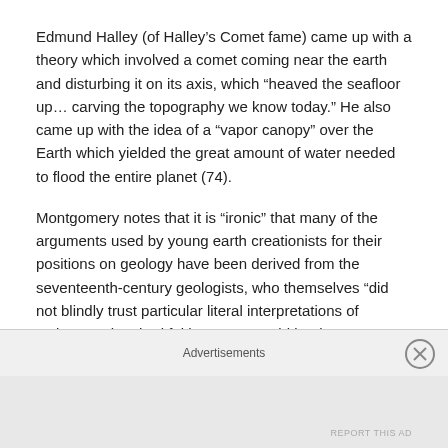Edmund Halley (of Halley's Comet fame) came up with a theory which involved a comet coming near the earth and disturbing it on its axis, which “heaved the seafloor up… carving the topography we know today.” He also came up with the idea of a “vapor canopy” over the Earth which yielded the great amount of water needed to flood the entire planet (74).
Montgomery notes that it is “ironic” that many of the arguments used by young earth creationists for their positions on geology have been derived from the seventeenth-century geologists, who themselves “did not blindly trust particular literal interpretations of scripture. They had faith reason would lead to enlightened
Advertisements